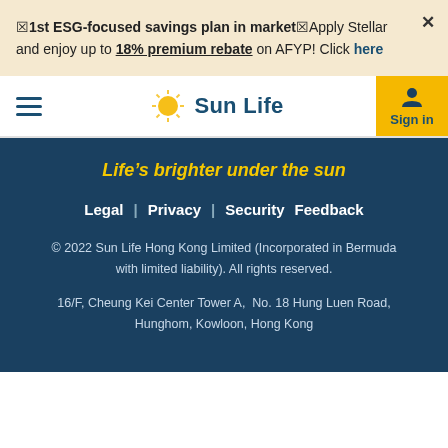🏆1st ESG-focused savings plan in market🏆Apply Stellar and enjoy up to 18% premium rebate on AFYP! Click here
[Figure (logo): Sun Life logo with sun icon and navigation bar with hamburger menu and Sign in button]
Life's brighter under the sun
Legal | Privacy | Security Feedback
© 2022 Sun Life Hong Kong Limited (Incorporated in Bermuda with limited liability). All rights reserved.
16/F, Cheung Kei Center Tower A,  No. 18 Hung Luen Road, Hunghom, Kowloon, Hong Kong